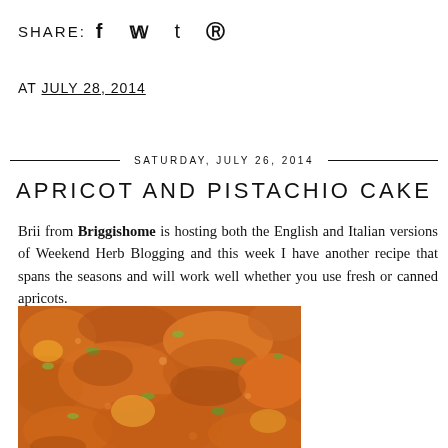SHARE: f t ® (social share icons)
AT JULY 28, 2014
SATURDAY, JULY 26, 2014
APRICOT AND PISTACHIO CAKE
Brii from Briggishome is hosting both the English and Italian versions of Weekend Herb Blogging and this week I have another recipe that spans the seasons and will work well whether you use fresh or canned apricots.
[Figure (photo): Close-up photo of apricot and pistachio cake with golden-orange crumbly topping and visible pistachio pieces]